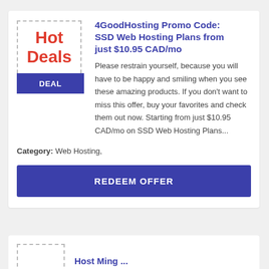4GoodHosting Promo Code: SSD Web Hosting Plans from just $10.95 CAD/mo
Please restrain yourself, because you will have to be happy and smiling when you see these amazing products. If you don't want to miss this offer, buy your favorites and check them out now. Starting from just $10.95 CAD/mo on SSD Web Hosting Plans...
Category: Web Hosting,
REDEEM OFFER